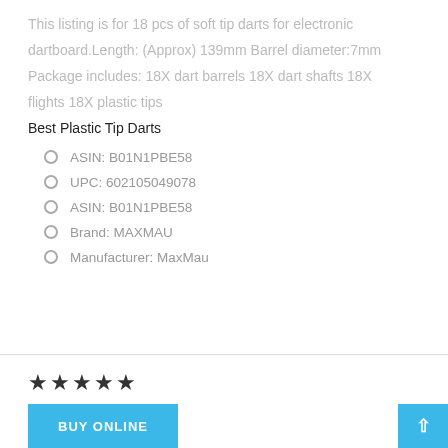This listing is for 18 pcs of soft tip darts for electronic dartboard.Length: (Approx) 139mm Barrel diameter:7mm Package includes: 18X dart barrels 18X dart shafts 18X flights 18X plastic tips
Best Plastic Tip Darts
ASIN: B01N1PBE58
UPC: 602105049078
ASIN: B01N1PBE58
Brand: MAXMAU
Manufacturer: MaxMau
[Figure (other): Five filled star rating icons]
BUY ONLINE